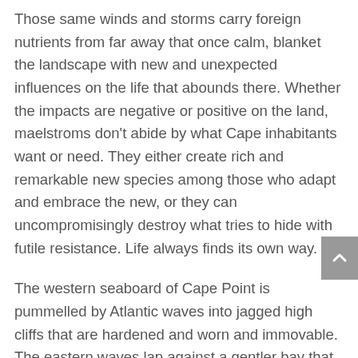Those same winds and storms carry foreign nutrients from far away that once calm, blanket the landscape with new and unexpected influences on the life that abounds there. Whether the impacts are negative or positive on the land, maelstroms don't abide by what Cape inhabitants want or need. They either create rich and remarkable new species among those who adapt and embrace the new, or they can uncompromisingly destroy what tries to hide with futile resistance. Life always finds its own way.
The western seaboard of Cape Point is pummelled by Atlantic waves into jagged high cliffs that are hardened and worn and immovable. The eastern waves lap against a gentler bay that slope the yielding sandy beaches, although wayward and changing with each season. These two coasts are my children.
What Mother Nature is telling me is that life is not always safe and warm, that motherhood and nurturing